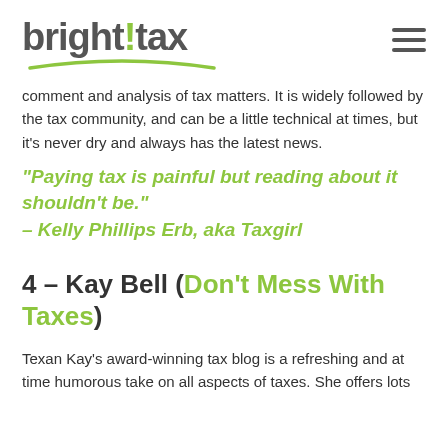[Figure (logo): Bright!Tax logo with green arc underline and hamburger menu icon]
comment and analysis of tax matters. It is widely followed by the tax community, and can be a little technical at times, but it's never dry and always has the latest news.
“Paying tax is painful but reading about it shouldn’t be.” – Kelly Phillips Erb, aka Taxgirl
4 – Kay Bell (Don’t Mess With Taxes)
Texan Kay’s award-winning tax blog is a refreshing and at time humorous take on all aspects of taxes. She offers lots